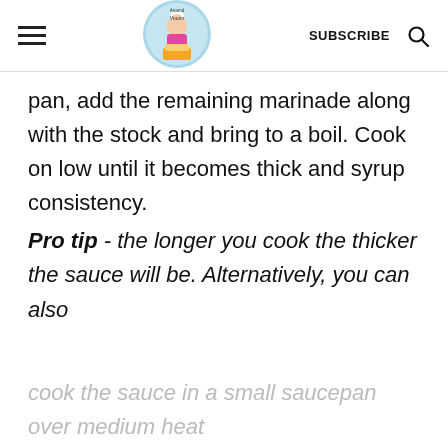Vroom Around — SUBSCRIBE [search icon]
pan, add the remaining marinade along with the stock and bring to a boil. Cook on low until it becomes thick and syrup consistency.
Pro tip - the longer you cook the thicker the sauce will be. Alternatively, you can also cook the sauce in a small saucepan over medium heat